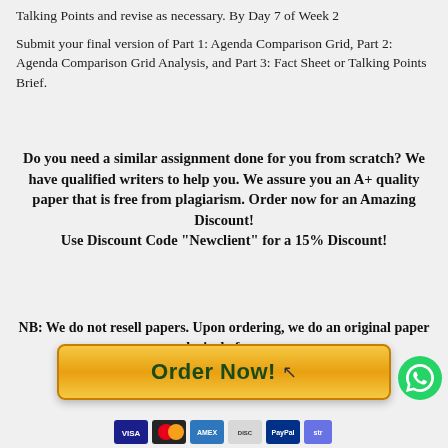Talking Points and revise as necessary. By Day 7 of Week 2
Submit your final version of Part 1: Agenda Comparison Grid, Part 2: Agenda Comparison Grid Analysis, and Part 3: Fact Sheet or Talking Points Brief.
Do you need a similar assignment done for you from scratch? We have qualified writers to help you. We assure you an A+ quality paper that is free from plagiarism. Order now for an Amazing Discount!
Use Discount Code "Newclient" for a 15% Discount!
NB: We do not resell papers. Upon ordering, we do an original paper exclusively for you.
[Figure (other): Orange 'Order Now!' button with cursor icon and WhatsApp icon to the right]
[Figure (other): Row of payment method icons: Visa, Mastercard, American Express, Discover, PayPal, Stripe]